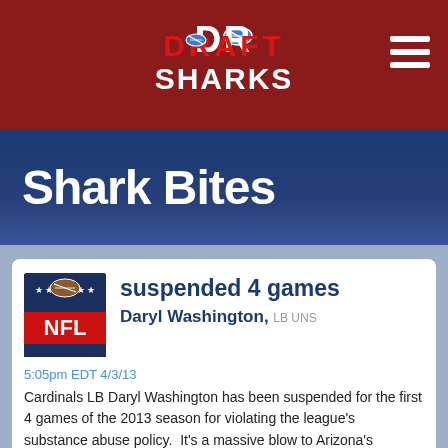[Figure (logo): Draft Sharks logo with football icon in header]
Shark Bites
suspended 4 games
Daryl Washington, LB UNS
5:05pm EDT 4/3/13
Cardinals LB Daryl Washington has been suspended for the first 4 games of the 2013 season for violating the league's substance abuse policy.  It's a massive blow to Arizona's defense.  Washington led the Cards in both tackles (134) and sacks (9) last year.  He finished 1st among LBs in standard-